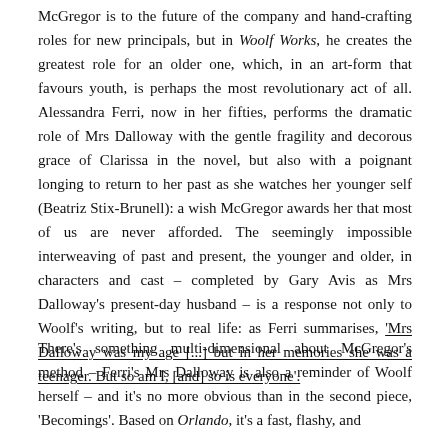McGregor is to the future of the company and handcrafting roles for new principals, but in Woolf Works, he creates the greatest role for an older one, which, in an artform that favours youth, is perhaps the most revolutionary act of all. Alessandra Ferri, now in her fifties, performs the dramatic role of Mrs Dalloway with the gentle fragility and decorous grace of Clarissa in the novel, but also with a poignant longing to return to her past as she watches her younger self (Beatriz Stix-Brunell): a wish McGregor awards her that most of us are never afforded. The seemingly impossible interweaving of past and present, the younger and older, in characters and cast – completed by Gary Avis as Mrs Dalloway's present-day husband – is a response not only to Woolf's writing, but to real life: as Ferri summarises, 'Mrs Dalloway was my age [...] but in her memories she was a teenager. But so am I, [and] so is everyone'.
There's something multi-dimensional about McGregor's method – Ferri's Mrs Dalloway is also a reminder of Woolf herself – and it's no more obvious than in the second piece, 'Becomings'. Based on Orlando, it's a fast, flashy, and